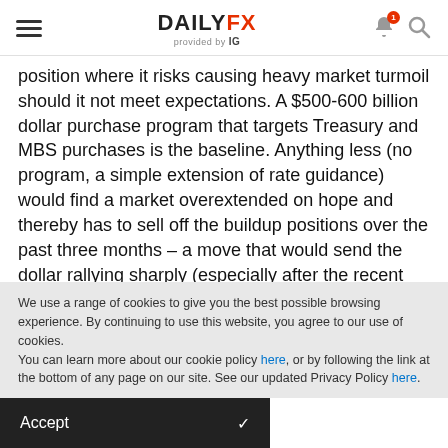DailyFX provided by IG
position where it risks causing heavy market turmoil should it not meet expectations. A $500-600 billion dollar purchase program that targets Treasury and MBS purchases is the baseline. Anything less (no program, a simple extension of rate guidance) would find a market overextended on hope and thereby has to sell off the buildup positions over the past three months – a move that would send the dollar rallying sharply (especially after the recent push from the Moody's downgrade warning). 'Beating' expectations is
We use a range of cookies to give you the best possible browsing experience. By continuing to use this website, you agree to our use of cookies.
You can learn more about our cookie policy here, or by following the link at the bottom of any page on our site. See our updated Privacy Policy here.
Accept